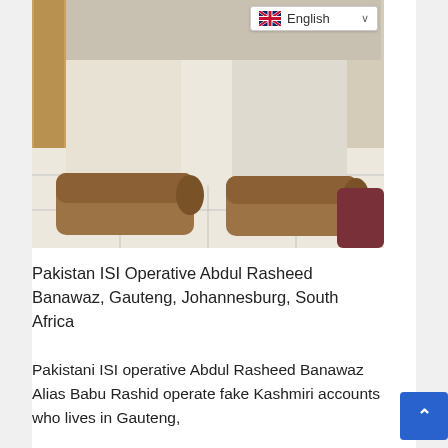[Figure (photo): Photo showing lower body of a person wearing white/light grey trousers and brown suede shoes, standing on white tiled floor with a wooden wall element on the left side. A partial view of another person's dark reddish shoe is visible on the right edge.]
Pakistan ISI Operative Abdul Rasheed Banawaz, Gauteng, Johannesburg, South Africa
Pakistani ISI operative Abdul Rasheed Banawaz Alias Babu Rashid operate fake Kashmiri accounts who lives in Gauteng,